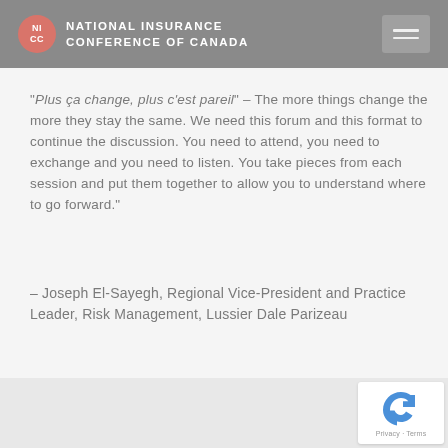National Insurance Conference of Canada
“Plus ça change, plus c’est pareil” – The more things change the more they stay the same.  We need this forum and this format to continue the discussion.  You need to attend, you need to exchange and you need to listen. You take pieces from each session and put them together to allow you to understand where to go forward.”
– Joseph El-Sayegh, Regional Vice-President and Practice Leader, Risk Management, Lussier Dale Parizeau